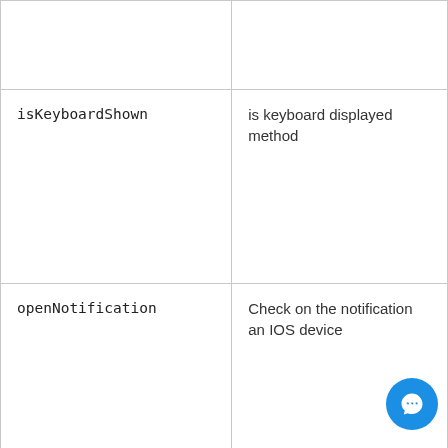|  |  |
| isKeyboardShown | is keyboard displayed method |
| openNotification | Check on the notification an IOS device |
| getDeviceTime | To get the current time on IOS device |